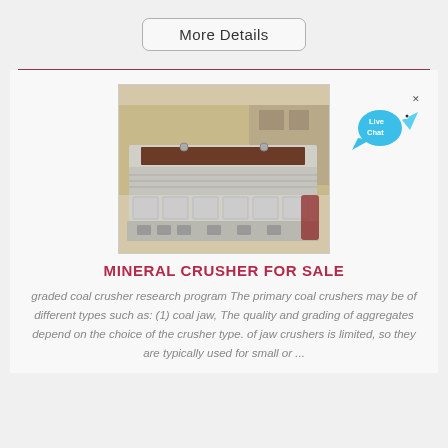More Details
[Figure (photo): Industrial mineral crusher machine, white/grey metal body, large rectangular machine on a platform, photographed outdoors]
[Figure (illustration): Live Chat speech bubble icon in cyan/blue]
MINERAL CRUSHER FOR SALE
graded coal crusher research program The primary coal crushers may be of different types such as: (1) coal jaw, The quality and grading of aggregates depend on the choice of the crusher type. of jaw crushers is limited, so they are typically used for small or ...